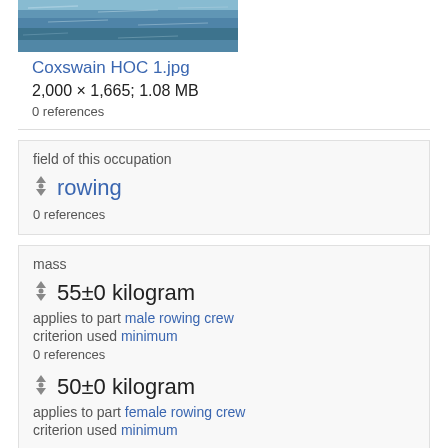[Figure (photo): Thumbnail of water surface photograph, Coxswain HOC 1.jpg]
Coxswain HOC 1.jpg
2,000 × 1,665; 1.08 MB
0 references
field of this occupation
rowing
0 references
mass
55±0 kilogram
applies to part male rowing crew
criterion used minimum
0 references
50±0 kilogram
applies to part female rowing crew
criterion used minimum